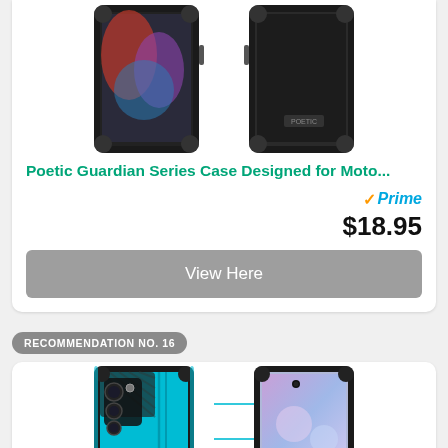[Figure (photo): Two views of a black Poetic Guardian Series phone case for Moto — front and back views shown against white background]
Poetic Guardian Series Case Designed for Moto...
Prime $18.95
View Here
RECOMMENDATION NO. 16
[Figure (photo): Two views of a teal/blue rugged phone case — front showing screen side and back showing triple camera cutout and carbon fiber texture]